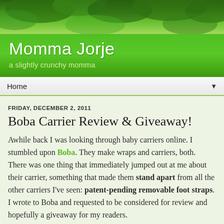[Figure (photo): Green leaves background photo at the top of the blog header]
Momma Jorje
a slightly crunchy momma
Home
FRIDAY, DECEMBER 2, 2011
Boba Carrier Review & Giveaway!
Awhile back I was looking through baby carriers online. I stumbled upon Boba. They make wraps and carriers, both. There was one thing that immediately jumped out at me about their carrier, something that made them stand apart from all the other carriers I've seen: patent-pending removable foot straps. I wrote to Boba and requested to be considered for review and hopefully a giveaway for my readers.